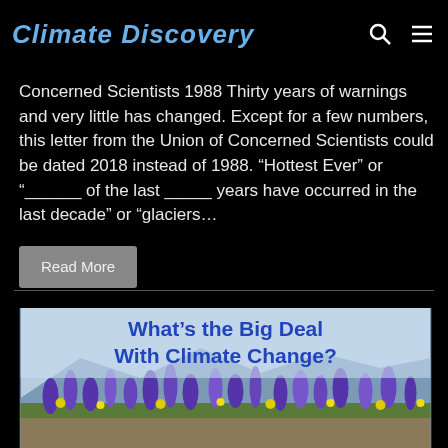Climate Discovery
Concerned Scientists 1988 Thirty years of warnings and very little has changed. Except for a few numbers, this letter from the Union of Concerned Scientists could be dated 2018 instead of 1988. “Hottest Ever” or “______ of the last _____ years have occurred in the last decade” or “glaciers…
Read More
[Figure (photo): Article thumbnail image with bold blue text headline 'What’s the Big Deal With Climate Change?' overlaid on a photo of wildflowers (purple/blue lupines and yellow flowers) with mountains in the background]